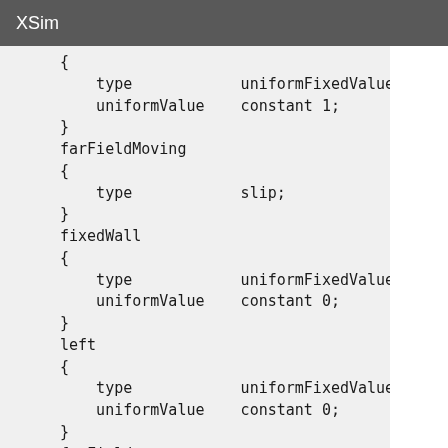XSim
{
    type            uniformFixedValue;
    uniformValue    constant 1;
}
farFieldMoving
{
    type            slip;
}
fixedWall
{
    type            uniformFixedValue;
    uniformValue    constant 0;
}
left
{
    type            uniformFixedValue;
    uniformValue    constant 0;
}
farField
{
    type            slip;
}
back
{
    type            wedge;
}